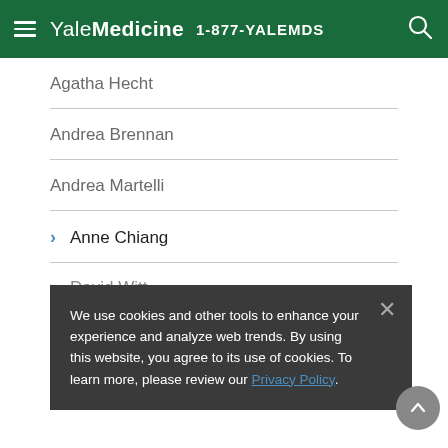Yale Medicine 1-877-YALEMDS
Agatha Hecht
Andrea Brennan
Andrea Martelli
Anne Chiang
David Witt
Emily Duffield
Frederick Wilson
We use cookies and other tools to enhance your experience and analyze web trends. By using this website, you agree to its use of cookies. To learn more, please review our Privacy Policy.